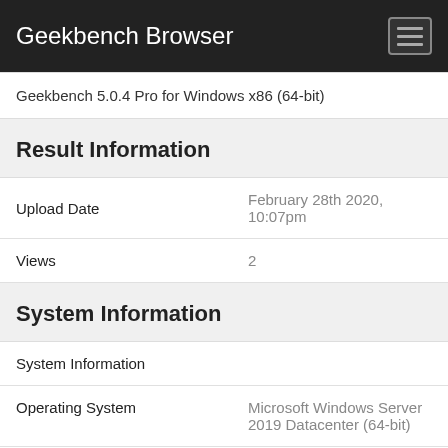Geekbench Browser
Geekbench 5.0.4 Pro for Windows x86 (64-bit)
Result Information
| Field | Value |
| --- | --- |
| Upload Date | February 28th 2020, 10:07pm |
| Views | 2 |
System Information
System Information
| Field | Value |
| --- | --- |
| Operating System | Microsoft Windows Server 2019 Datacenter (64-bit) |
| Model | Dell Inc. Precision 5820 Tower X |